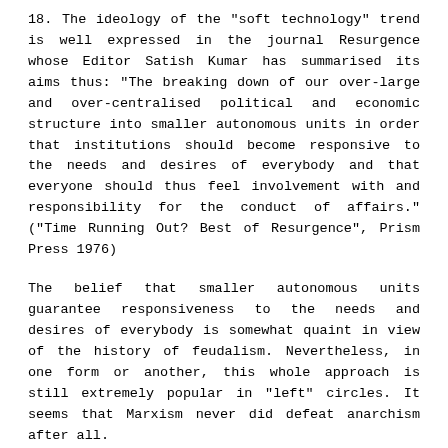18. The ideology of the "soft technology" trend is well expressed in the journal Resurgence whose Editor Satish Kumar has summarised its aims thus: "The breaking down of our over-large and over-centralised political and economic structure into smaller autonomous units in order that institutions should become responsive to the needs and desires of everybody and that everyone should thus feel involvement with and responsibility for the conduct of affairs." ("Time Running Out? Best of Resurgence", Prism Press 1976)
The belief that smaller autonomous units guarantee responsiveness to the needs and desires of everybody is somewhat quaint in view of the history of feudalism. Nevertheless, in one form or another, this whole approach is still extremely popular in "left" circles. It seems that Marxism never did defeat anarchism after all.
Although many adherents of this trend are very nice, gentle people who would probably find themselves on the right side of the barricades if it came to that (even if only as stretcher bearers), the ideological content of this trend is undiluted reaction against modern society.